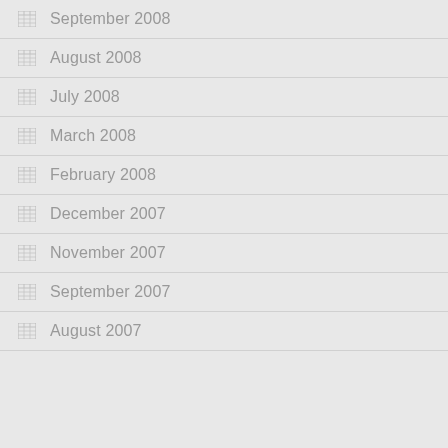September 2008
August 2008
July 2008
March 2008
February 2008
December 2007
November 2007
September 2007
August 2007